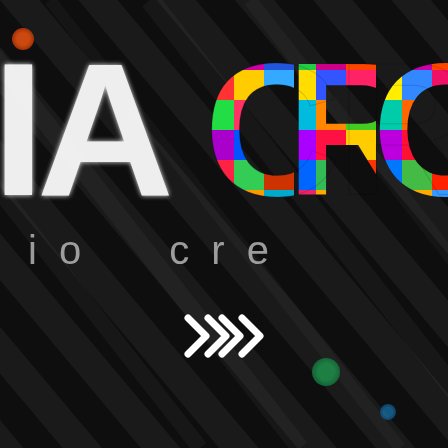[Figure (logo): Macro creation logo: large letters 'IA' in white pixelated/digital font and 'CRO' in multicolored (blue, green, red, yellow, magenta, orange) mosaic style letters, subtitle text 'io cre' in grey spaced letters, double chevron arrows '>>' in white, all on a dark background with diagonal light streaks]